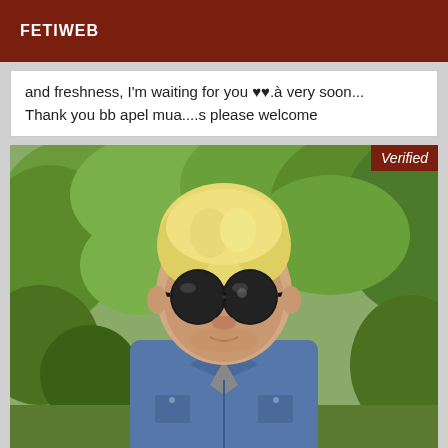FETIWEB
and freshness, I'm waiting for you ♥♥.à very soon...
Thank you bb apel mua....s please welcome
[Figure (photo): A young man with blonde hair and dark sunglasses wearing a denim shirt, standing outdoors with green trees in the background. A 'Verified' badge appears in the top right corner of the photo.]